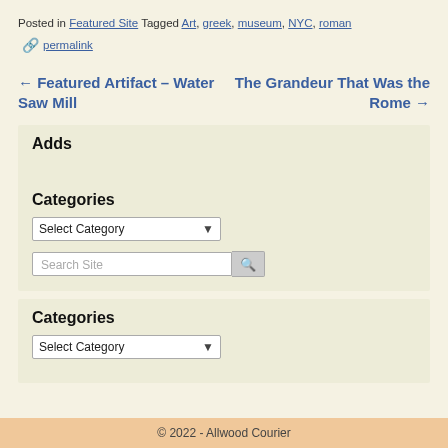Posted in Featured Site Tagged Art, greek, museum, NYC, roman
🔗 permalink
← Featured Artifact – Water Saw Mill
The Grandeur That Was the Rome →
Adds
Categories
Select Category ▾
Search Site [search button]
Categories
Select Category ▾
© 2022 - Allwood Courier